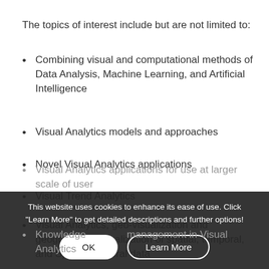The topics of interest include but are not limited to:
Combining visual and computational methods of Data Analysis, Machine Learning, and Artificial Intelligence
Visual Analytics models and approaches
Novel Visual Analytics applications
Visual Trend Analytics
Visual Analytics, geo-visualization and geographical visualization of spatial, temporal, and Spatio-temporal data
Visual Analytics applications for use of social, user and management in Visual Analytics
Knowledge ... management in Visual Analytics
This website uses cookies to enhance its ease of use. Click "Learn More" to get detailed descriptions and further options!